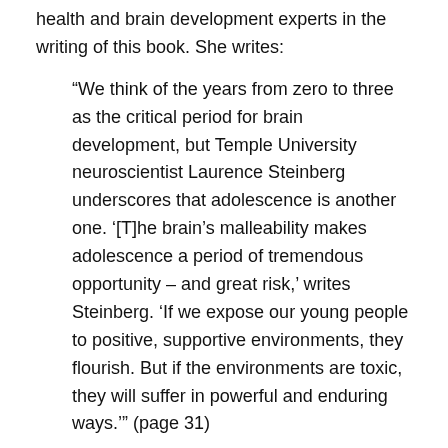health and brain development experts in the writing of this book. She writes:
“We think of the years from zero to three as the critical period for brain development, but Temple University neuroscientist Laurence Steinberg underscores that adolescence is another one. ‘[T]he brain’s malleability makes adolescence a period of tremendous opportunity – and great risk,’ writes Steinberg. ‘If we expose our young people to positive, supportive environments, they flourish. But if the environments are toxic, they will suffer in powerful and enduring ways.’” (page 31)
The book takes on many of the bad ideas in education “reform”. She spends chapter three debunking the idea that rigorous daily homework assignments and longer